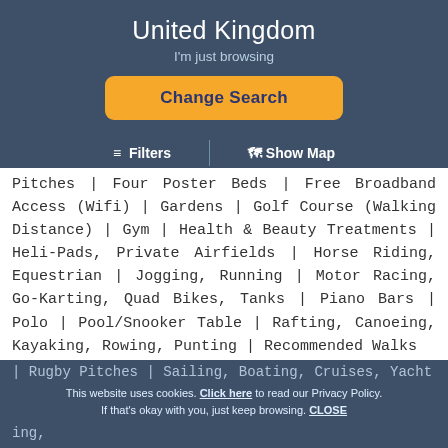United Kingdom
I'm just browsing
Change Search
≡ Filters  | Show Map
Pitches | Four Poster Beds | Free Broadband Access (Wifi) | Gardens | Golf Course (Walking Distance) | Gym | Health & Beauty Treatments | Heli-Pads, Private Airfields | Horse Riding, Equestrian | Jogging, Running | Motor Racing, Go-Karting, Quad Bikes, Tanks | Piano Bars | Polo | Pool/Snooker Table | Rafting, Canoeing, Kayaking, Rowing, Punting | Recommended Walks | Rugby Pitches | Sailing, Boating, Cruises, Yachting, ...
This website uses cookies. Click here to read our Privacy Policy. If that's okay with you, just keep browsing. CLOSE